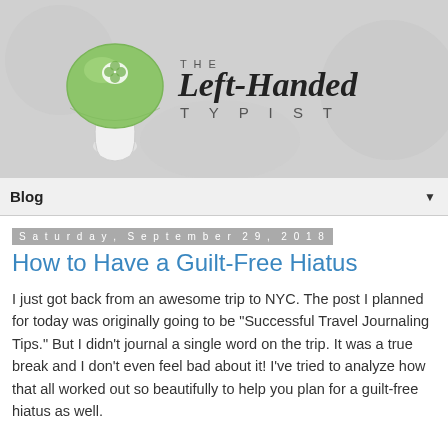[Figure (logo): Blog header banner with a green mushroom illustration on the left and the blog title 'THE Left-Handed TYPIST' in stylized text on the right, on a light gray background.]
Blog ▼
Saturday, September 29, 2018
How to Have a Guilt-Free Hiatus
I just got back from an awesome trip to NYC. The post I planned for today was originally going to be "Successful Travel Journaling Tips." But I didn't journal a single word on the trip. It was a true break and I don't even feel bad about it! I've tried to analyze how that all worked out so beautifully to help you plan for a guilt-free hiatus as well.